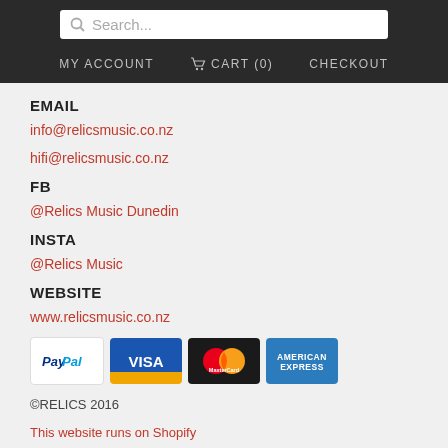Search... | MY ACCOUNT | CART (0) | CHECKOUT
EMAIL
info@relicsmusic.co.nz
hifi@relicsmusic.co.nz
FB
@Relics Music Dunedin
INSTA
@Relics Music
WEBSITE
www.relicsmusic.co.nz
[Figure (other): Payment method logos: PayPal, VISA, MasterCard, American Express]
©RELICS 2016
This website runs on Shopify